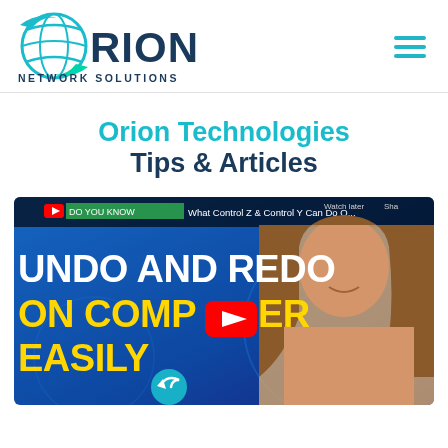[Figure (logo): Orion Network Solutions logo with teal globe icon and dark blue text]
Orion Technologies Tips & Articles
[Figure (screenshot): YouTube video thumbnail showing 'UNDO AND REDO ON COMPUTER EASILY' with a woman presenter on the right side. Video title bar reads: Do You Know What Control Z & Control Y Can Do O...]